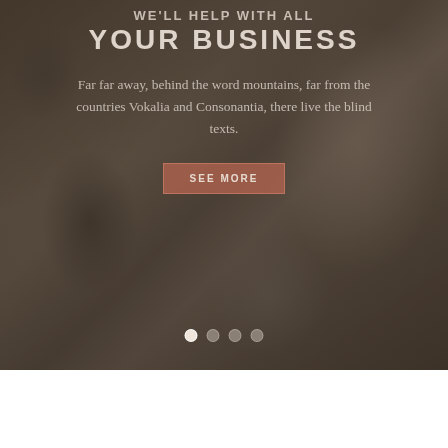[Figure (photo): A blurry background photo of a business professional in a suit writing or using a pen, with bokeh effect. Overlaid with semi-transparent dark overlay.]
YOUR BUSINESS
Far far away, behind the word mountains, far from the countries Vokalia and Consonantia, there live the blind texts.
SEE MORE